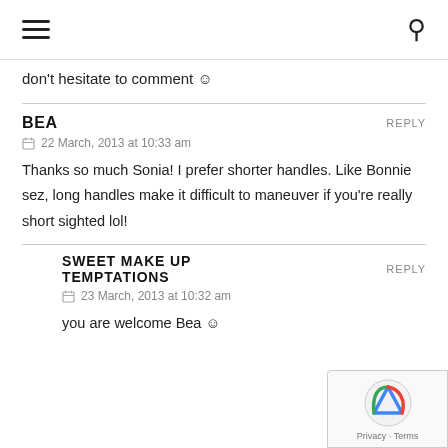≡  🔍
don't hesitate to comment 🙂
BEA
REPLY
22 March, 2013 at 10:33 am
Thanks so much Sonia! I prefer shorter handles. Like Bonnie sez, long handles make it difficult to maneuver if you're really short sighted lol!
SWEET MAKE UP TEMPTATIONS
REPLY
23 March, 2013 at 10:32 am
you are welcome Bea 🙂